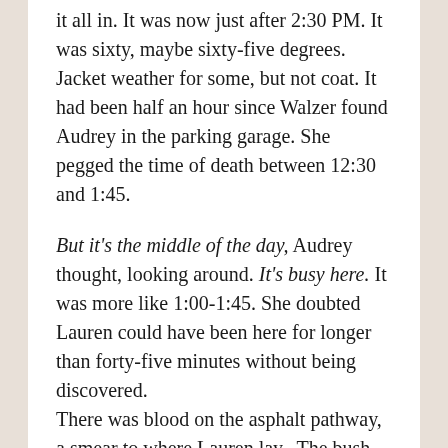it all in. It was now just after 2:30 PM. It was sixty, maybe sixty-five degrees. Jacket weather for some, but not coat. It had been half an hour since Walzer found Audrey in the parking garage. She pegged the time of death between 12:30 and 1:45.
But it's the middle of the day, Audrey thought, looking around. It's busy here. It was more like 1:00-1:45. She doubted Lauren could have been here for longer than forty-five minutes without being discovered.
There was blood on the asphalt pathway, a smear to where Lauren lay.  The bush itself looked unharmed.
Did the perp drag her body over there? If so,